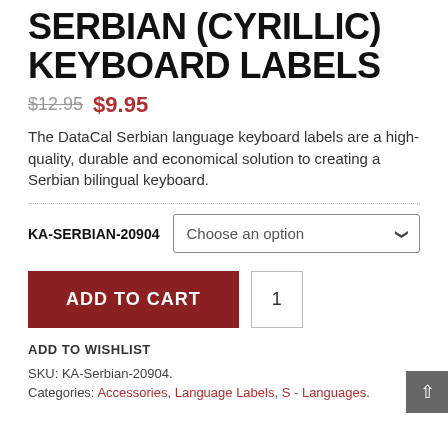SERBIAN (CYRILLIC) KEYBOARD LABELS
$12.95  $9.95
The DataCal Serbian language keyboard labels are a high-quality, durable and economical solution to creating a Serbian bilingual keyboard.
KA-SERBIAN-20904   Choose an option
ADD TO CART   1
ADD TO WISHLIST
SKU: KA-Serbian-20904.
Categories: Accessories, Language Labels, S - Languages.